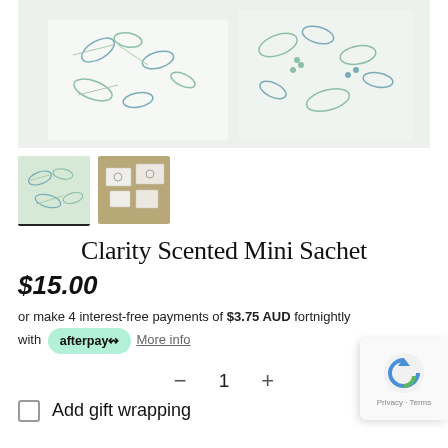[Figure (photo): Product photo of Clarity Scented Mini Sachet boxes with botanical leaf pattern in blue and green on white background]
[Figure (photo): Thumbnail 1: green botanical patterned sachets laid flat]
[Figure (photo): Thumbnail 2: multiple small sachets and wax seal items on a gold/brown background]
Clarity Scented Mini Sachet
$15.00
or make 4 interest-free payments of $3.75 AUD fortnightly with afterpay More info
− 1 +
Add gift wrapping